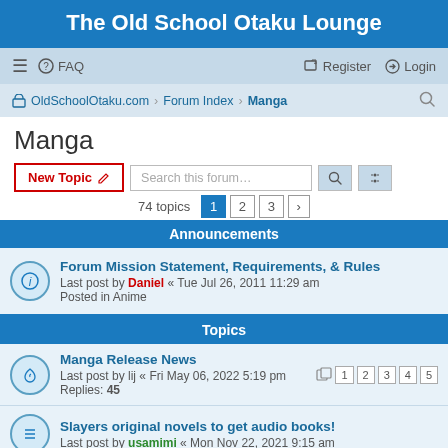The Old School Otaku Lounge
≡  FAQ    Register  Login
⌂ OldSchoolOtaku.com · Forum Index · Manga
Manga
New Topic  Search this forum…  74 topics  1 2 3 >
Announcements
Forum Mission Statement, Requirements, & Rules
Last post by Daniel « Tue Jul 26, 2011 11:29 am
Posted in Anime
Topics
Manga Release News
Last post by lij « Fri May 06, 2022 5:19 pm
Replies: 45
1 2 3 4 5
Slayers original novels to get audio books!
Last post by usamimi « Mon Nov 22, 2021 9:15 am
Harlock Question